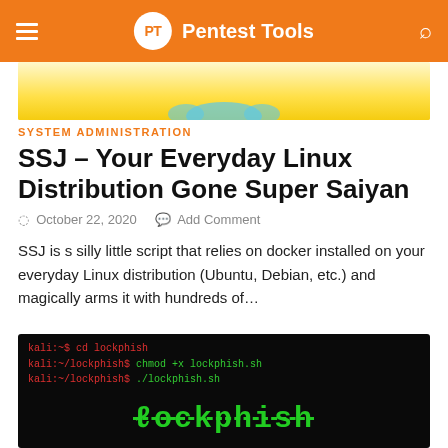Pentest Tools
[Figure (illustration): Anime character hero image with yellow/gold coloring at the top]
SYSTEM ADMINISTRATION
SSJ – Your Everyday Linux Distribution Gone Super Saiyan
October 22, 2020  Add Comment
SSJ is s silly little script that relies on docker installed on your everyday Linux distribution (Ubuntu, Debian, etc.) and magically arms it with hundreds of...
[Figure (screenshot): Terminal screenshot showing commands: cd lockphish, chmod +x lockphish.sh, ./lockphish.sh, with green Lockphish ASCII art text]